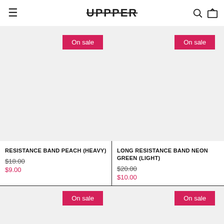UPPPER
On sale
On sale
RESISTANCE BAND PEACH (HEAVY) $18.00 $9.00
LONG RESISTANCE BAND NEON GREEN (LIGHT) $20.00 $10.00
On sale
On sale